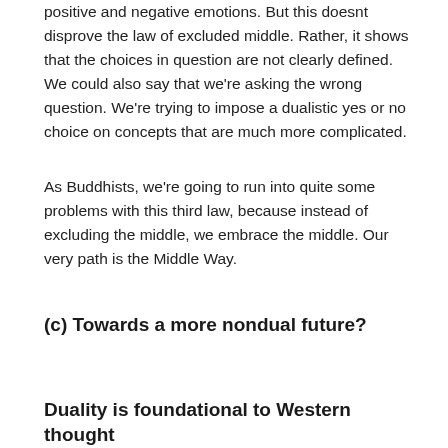positive and negative emotions. But this doesnt disprove the law of excluded middle. Rather, it shows that the choices in question are not clearly defined. We could also say that we're asking the wrong question. We're trying to impose a dualistic yes or no choice on concepts that are much more complicated.
As Buddhists, we're going to run into quite some problems with this third law, because instead of excluding the middle, we embrace the middle. Our very path is the Middle Way.
(c) Towards a more nondual future?
Duality is foundational to Western thought